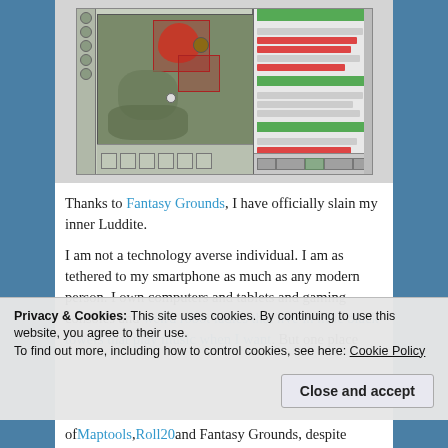[Figure (screenshot): Screenshot of Fantasy Grounds virtual tabletop software showing a game map with a dragon token, character tokens, red highlighted areas, and a chat/action panel on the right side.]
Thanks to Fantasy Grounds, I have officially slain my inner Luddite.
I am not a technology averse individual. I am as tethered to my smartphone as much as any modern person. I own computers and tablets and gaming consoles and weird robot ladies that live in little black towers that play music when I want. But one place
Privacy & Cookies: This site uses cookies. By continuing to use this website, you agree to their use.
To find out more, including how to control cookies, see here: Cookie Policy
of Maptools, Roll20 and Fantasy Grounds, despite